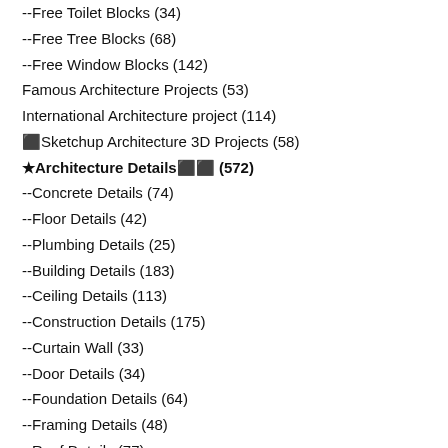--Free Toilet Blocks (34)
--Free Tree Blocks (68)
--Free Window Blocks (142)
Famous Architecture Projects (53)
International Architecture project (114)
⬛Sketchup Architecture 3D Projects (58)
★Architecture Details⬛⬛ (572)
--Concrete Details (74)
--Floor Details (42)
--Plumbing Details (25)
--Building Details (183)
--Ceiling Details (113)
--Construction Details (175)
--Curtain Wall (33)
--Door Details (34)
--Foundation Details (64)
--Framing Details (48)
--Roof Details (77)
--Sliderail System (10)
--Structure Details (142)